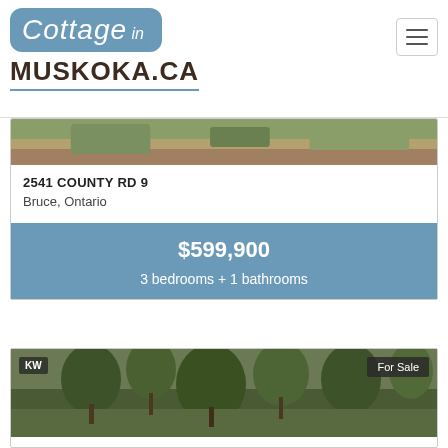[Figure (logo): Cottage in Muskoka.ca logo with blue rounded rectangle containing cursive text and bold brown text below]
[Figure (photo): Partial property photo showing rocky ground with green vegetation, top portion visible]
2541 COUNTY RD 9
Bruce, Ontario
$599,900
3 bedrooms + 1 bathrooms
[Figure (photo): Forest/wooded property photo with a For Sale badge and KW realty watermark in the top corners]